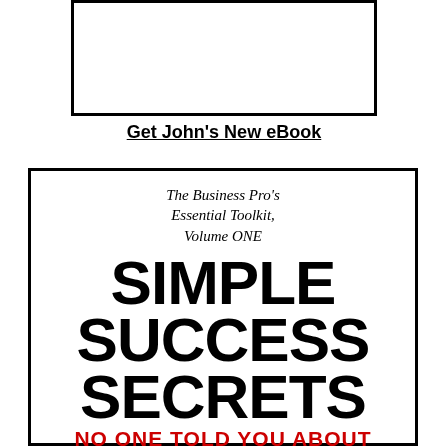[Figure (other): Empty white rectangle with black border at top of page]
Get John's New eBook
[Figure (illustration): Book cover for 'Simple Success Secrets No One Told You About' - The Business Pro's Essential Toolkit, Volume ONE, with large bold black title text and red subtitle text, enclosed in black border]
The Business Pro's Essential Toolkit, Volume ONE
SIMPLE SUCCESS SECRETS
NO ONE TOLD YOU ABOUT